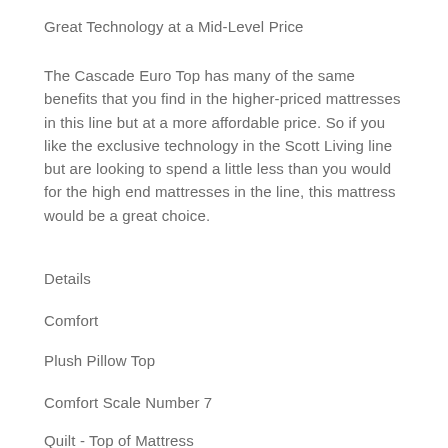Great Technology at a Mid-Level Price
The Cascade Euro Top has many of the same benefits that you find in the higher-priced mattresses in this line but at a more affordable price. So if you like the exclusive technology in the Scott Living line but are looking to spend a little less than you would for the high end mattresses in the line, this mattress would be a great choice.
Details
Comfort
Plush Pillow Top
Comfort Scale Number 7
Quilt - Top of Mattress